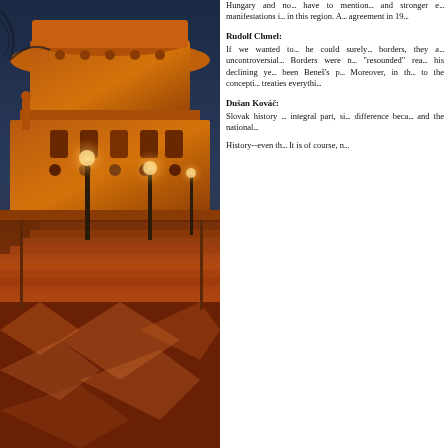[Figure (photo): Night photograph of a large illuminated stone building with circular tower, street lamps glowing orange, wide stone steps in the foreground with reflective wet pavement.]
Hungary and no... have to mention... and stronger e... manifestations i... in this region. A... agreement in 19...
Rudolf Chmel:
If we wanted to... he could surely... borders, they a... uncontroversial... Borders were n... "resounded" rea... his declining ye... been Beneš's p... Moreover, in th... to the concepti... treaties everythi...
Dušan Kováč:
Slovak history ... integral part, si... difference beca... and the national...
History--even th... It is of course, n...